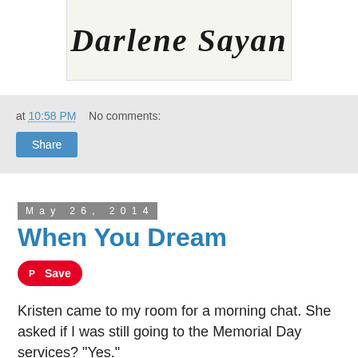[Figure (illustration): Cursive/script signature reading 'Darlene Payan' on a light cream background with a border]
at 10:58 PM   No comments:
Share
May 26, 2014
When You Dream
Save
Kristen came to my room for a morning chat. She asked if I was still going to the Memorial Day services? "Yes."
I told her of one place where there will be a canon salute used instead of rifles. "I want to see the 21 Gun Salute", I said.
[Figure (photo): Partial outdoor photo showing palm trees and sky, cropped at bottom of page]